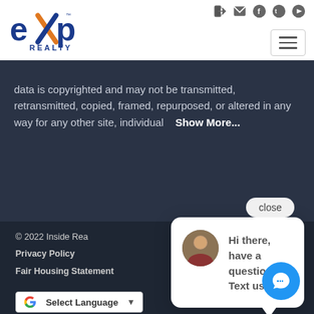[Figure (logo): eXp Realty logo - blue and orange]
data is copyrighted and may not be transmitted, retransmitted, copied, framed, repurposed, or altered in any way for any other site, individual   Show More...
close
Hi there, have a question? Text us here.
© 2022 Inside Rea...
Privacy Policy
Fair Housing Statement
Select Language